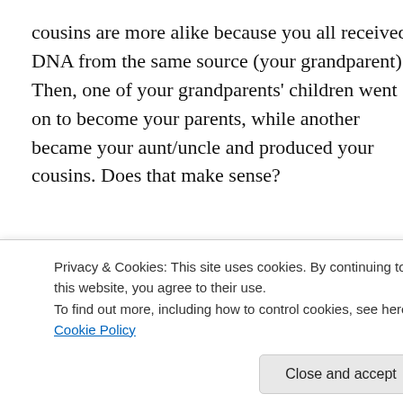cousins are more alike because you all received DNA from the same source (your grandparent). Then, one of your grandparents' children went on to become your parents, while another became your aunt/uncle and produced your cousins. Does that make sense?
[Figure (other): DuckDuckGo advertisement banner: orange section with text 'Search, browse, and email with more privacy.' and dark section with DuckDuckGo duck logo icon]
I want to pause here for a moment to make a crucially important point. In my example, we did not need actual
Privacy & Cookies: This site uses cookies. By continuing to use this website, you agree to their use.
To find out more, including how to control cookies, see here: Cookie Policy
Close and accept